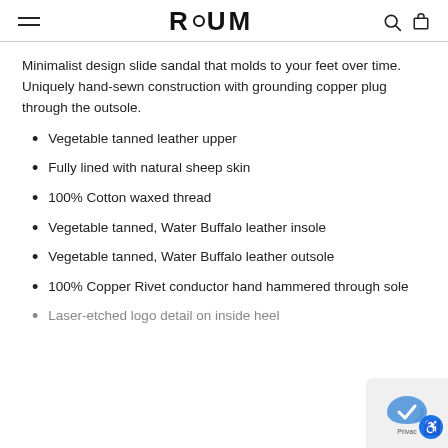RAUM
Minimalist design slide sandal that molds to your feet over time. Uniquely hand-sewn construction with grounding copper plug through the outsole.
Vegetable tanned leather upper
Fully lined with natural sheep skin
100% Cotton waxed thread
Vegetable tanned, Water Buffalo leather insole
Vegetable tanned, Water Buffalo leather outsole
100% Copper Rivet conductor hand hammered through sole
Laser-etched logo detail on inside heel